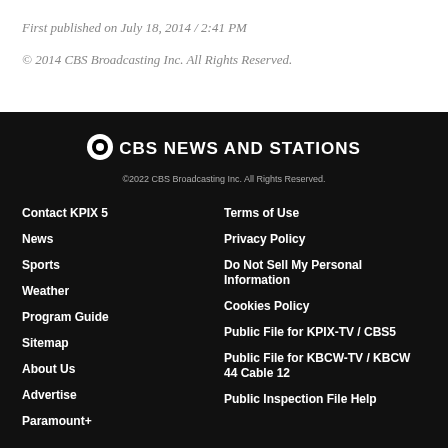First published on July 18, 2014 / 2:41 PM
© 2014 CBS Broadcasting Inc. All Rights Reserved.
[Figure (logo): CBS News and Stations logo with CBS eye icon]
©2022 CBS Broadcasting Inc. All Rights Reserved.
Contact KPIX 5
News
Sports
Weather
Program Guide
Sitemap
About Us
Advertise
Paramount+
Terms of Use
Privacy Policy
Do Not Sell My Personal Information
Cookies Policy
Public File for KPIX-TV / CBS5
Public File for KBCW-TV / KBCW 44 Cable 12
Public Inspection File Help